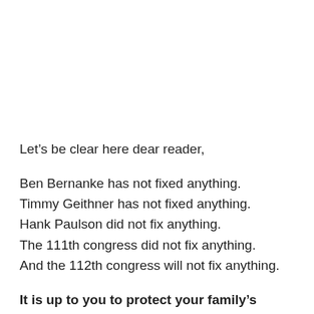Let’s be clear here dear reader,
Ben Bernanke has not fixed anything.
Timmy Geithner has not fixed anything.
Hank Paulson did not fix anything.
The 111th congress did not fix anything.
And the 112th congress will not fix anything.
It is up to you to protect your family’s money.